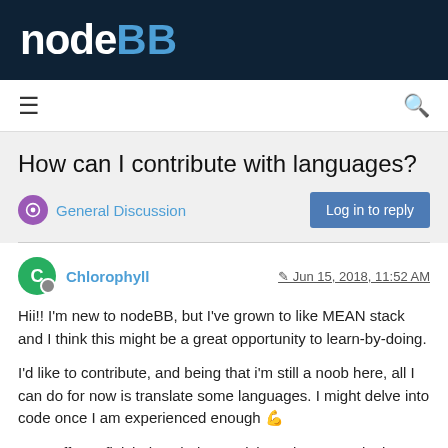nodeBB
How can I contribute with languages?
General Discussion
Log in to reply
Chlorophyll   Jun 15, 2018, 11:52 AM
Hii!! I'm new to nodeBB, but I've grown to like MEAN stack and I think this might be a great opportunity to learn-by-doing.
I'd like to contribute, and being that i'm still a noob here, all I can do for now is translate some languages. I might delve into code once I am experienced enough 💪
I can offer to finish the whole spanish package, catalonian and maybe galician and some greek.